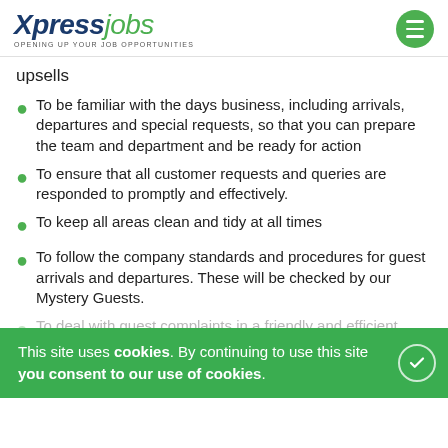Xpress jobs — OPENING UP YOUR JOB OPPORTUNITIES
upsells
To be familiar with the days business, including arrivals, departures and special requests, so that you can prepare the team and department and be ready for action
To ensure that all customer requests and queries are responded to promptly and effectively.
To keep all areas clean and tidy at all times
To follow the company standards and procedures for guest arrivals and departures. These will be checked by our Mystery Guests.
To deal with guest complaints in a friendly and efficient manner, maximising guest satisfaction at all times.
Training and motivating team members.
This site uses cookies. By continuing to use this site you consent to our use of cookies.